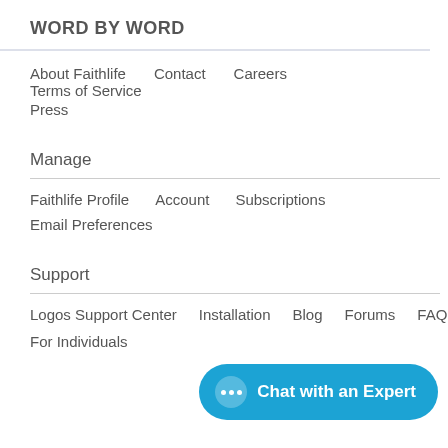WORD BY WORD
About Faithlife
Contact
Careers
Terms of Service
Press
Manage
Faithlife Profile
Account
Subscriptions
Email Preferences
Support
Logos Support Center
Installation
Blog
Forums
FAQ
For Individuals
Chat with an Expert